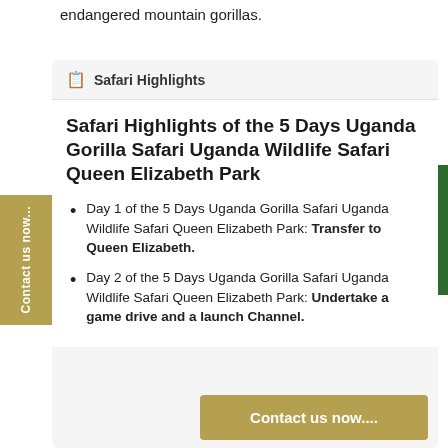endangered mountain gorillas.
Safari Highlights
Safari Highlights of the 5 Days Uganda Gorilla Safari Uganda Wildlife Safari Queen Elizabeth Park
Day 1 of the 5 Days Uganda Gorilla Safari Uganda Wildlife Safari Queen Elizabeth Park: Transfer to Queen Elizabeth.
Day 2 of the 5 Days Uganda Gorilla Safari Uganda Wildlife Safari Queen Elizabeth Park: Undertake a game drive and a launch Channel.
Contact us now....